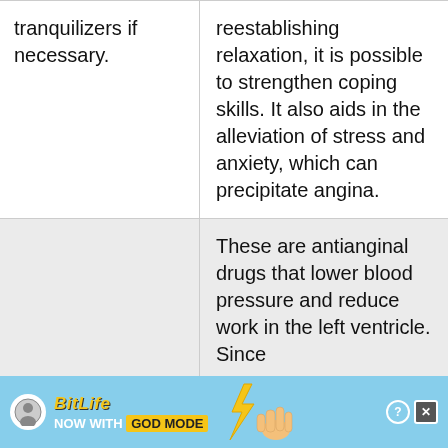tranquilizers if necessary.
reestablishing relaxation, it is possible to strengthen coping skills. It also aids in the alleviation of stress and anxiety, which can precipitate angina.
These are antianginal drugs that lower blood pressure and reduce work in the left ventricle. Since
[Figure (other): BitLife advertisement banner: NOW WITH GOD MODE, with hand pointing graphic]